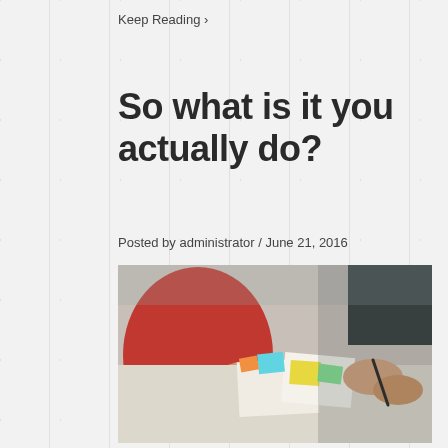Keep Reading ›
So what is it you actually do?
Posted by administrator / June 21, 2016
[Figure (photo): People sitting around a table working with sticky notes and papers in a collaborative session]
I get asked that question a lot. Over my career, I’ve found it harder and harder to describe in a few short sentences what I